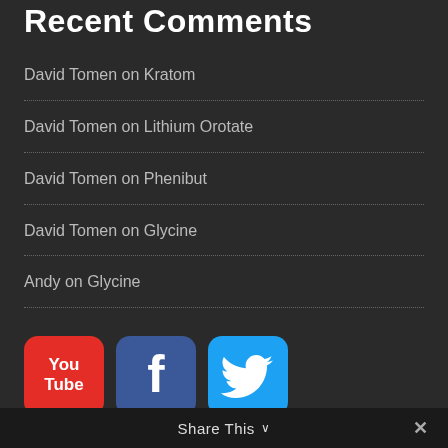Recent Comments
David Tomen on Kratom
David Tomen on Lithium Orotate
David Tomen on Phenibut
David Tomen on Glycine
Andy on Glycine
[Figure (logo): YouTube logo icon - red rounded rectangle with You/Tube text]
[Figure (logo): Facebook logo icon - dark blue rounded rectangle with f]
[Figure (logo): Twitter logo icon - light blue rounded rectangle with bird]
Share This ∨  ✕